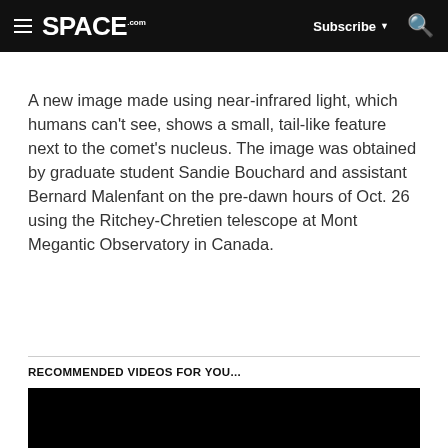SPACE.com  Subscribe  🔍
A new image made using near-infrared light, which humans can't see, shows a small, tail-like feature next to the comet's nucleus. The image was obtained by graduate student Sandie Bouchard and assistant Bernard Malenfant on the pre-dawn hours of Oct. 26 using the Ritchey-Chretien telescope at Mont Megantic Observatory in Canada.
RECOMMENDED VIDEOS FOR YOU...
[Figure (other): Black video thumbnail placeholder]